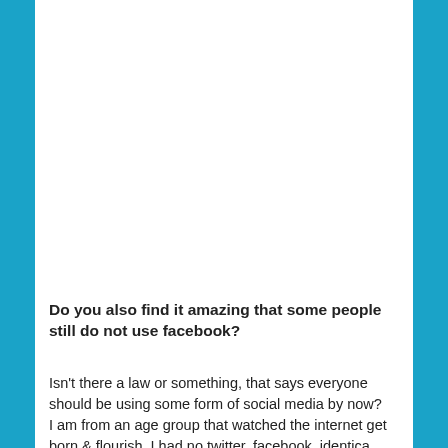Do you also find it amazing that some people still do not use facebook?
Isn't there a law or something, that says everyone should be using some form of social media by now?
I am from an age group that watched the internet get born & flourish. I had no twitter, facebook, identica,